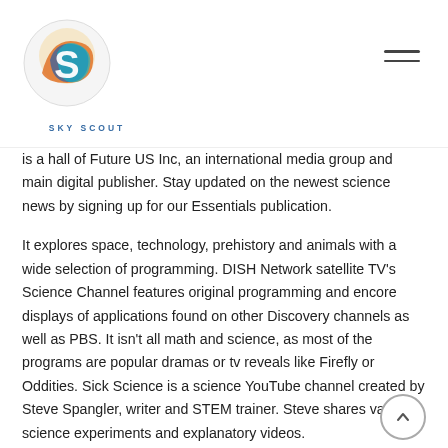SKY SCOUT
is a hall of Future US Inc, an international media group and main digital publisher. Stay updated on the newest science news by signing up for our Essentials publication.
It explores space, technology, prehistory and animals with a wide selection of programming. DISH Network satellite TV's Science Channel features original programming and encore displays of applications found on other Discovery channels as well as PBS. It isn't all math and science, as most of the programs are popular dramas or tv reveals like Firefly or Oddities. Sick Science is a science YouTube channel created by Steve Spangler, writer and STEM trainer. Steve shares various science experiments and explanatory videos.